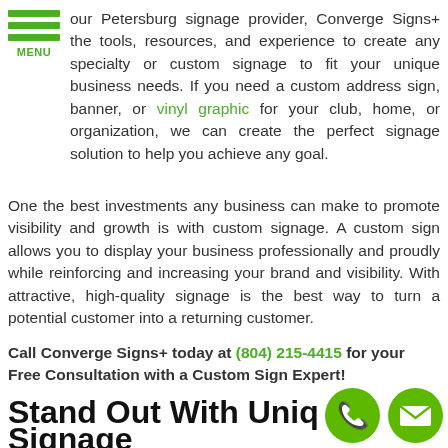[Figure (logo): Green hamburger menu icon with three horizontal green bars and 'MENU' text below in green]
our Petersburg signage provider, Converge Signs+ the tools, resources, and experience to create any specialty or custom signage to fit your unique business needs. If you need a custom address sign, banner, or vinyl graphic for your club, home, or organization, we can create the perfect signage solution to help you achieve any goal.
One the best investments any business can make to promote visibility and growth is with custom signage. A custom sign allows you to display your business professionally and proudly while reinforcing and increasing your brand and visibility. With attractive, high-quality signage is the best way to turn a potential customer into a returning customer.
Call Converge Signs+ today at (804) 215-4415 for your Free Consultation with a Custom Sign Expert!
Stand Out With Unique Signage
[Figure (illustration): Green circle phone icon]
[Figure (illustration): Green circle email/envelope icon]